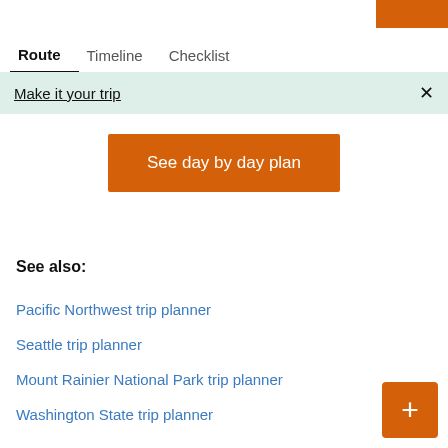Route | Timeline | Checklist
Make it your trip
See day by day plan
See also:
Pacific Northwest trip planner
Seattle trip planner
Mount Rainier National Park trip planner
Washington State trip planner